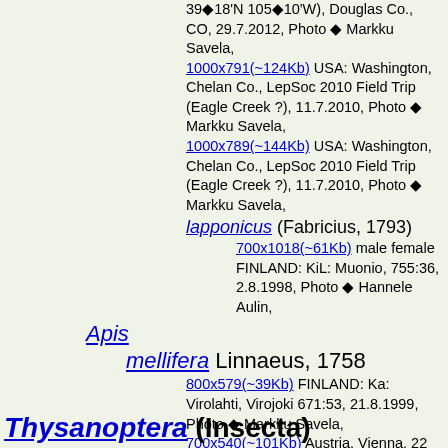39◆18'N 105◆10'W), Douglas Co., CO, 29.7.2012, Photo ◆ Markku Savela,
1000x791(~124Kb) USA: Washington, Chelan Co., LepSoc 2010 Field Trip (Eagle Creek ?), 11.7.2010, Photo ◆ Markku Savela,
1000x789(~144Kb) USA: Washington, Chelan Co., LepSoc 2010 Field Trip (Eagle Creek ?), 11.7.2010, Photo ◆ Markku Savela,
lapponicus (Fabricius, 1793)
700x1018(~61Kb) male female FINLAND: KiL: Muonio, 755:36, 2.8.1998, Photo ◆ Hannele Aulin,
Apis
mellifera Linnaeus, 1758
800x579(~39Kb) FINLAND: Ka: Virolahti, Virojoki 671:53, 21.8.1999, Photo ◆ Markku Savela,
700x540(~101Kb) Austria, Vienna, 22 May 2001, Photo ◆ Erich Mangl,
722x600(~107Kb) Russia, Moscow area (36◆25'E, 56◆00'N) 23.9.2006, Photo ◆ D. Smirnov,
Thysanoptera (Insecta)